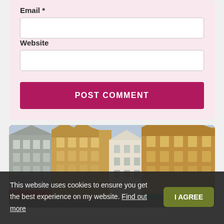Email *
Website
POST COMMENT
[Figure (photo): Photograph of historic European-style buildings with ornate stepped gable facades, multiple stories of windows, in warm brown/tan tones. Street level shops visible with awnings.]
This website uses cookies to ensure you get the best experience on my website. Find out more  I AGREE